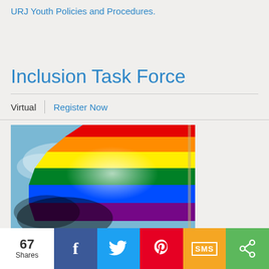URJ Youth Policies and Procedures.
Inclusion Task Force
Virtual | Register Now
[Figure (photo): A rainbow pride flag waving against a blue sky, with sunlight shining through from behind.]
67 Shares | Facebook | Twitter | Pinterest | SMS | Share